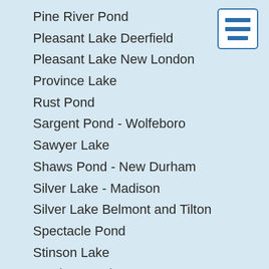Pine River Pond
Pleasant Lake Deerfield
Pleasant Lake New London
Province Lake
Rust Pond
Sargent Pond - Wolfeboro
Sawyer Lake
Shaws Pond - New Durham
Silver Lake - Madison
Silver Lake Belmont and Tilton
Spectacle Pond
Stinson Lake
Stocker Pond
Suncook Lake
Sunrise Lake
Sunset Lake
Swains Lake
Lake Todd
Upper Beech Pond